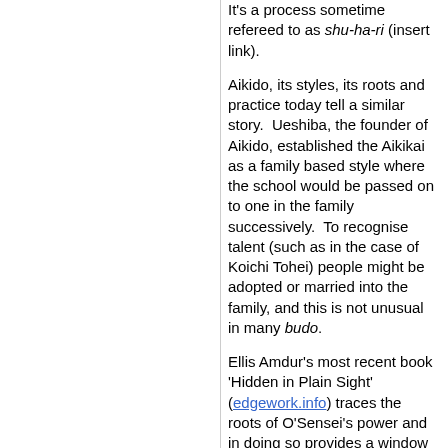It's a process sometime refereed to as shu-ha-ri (insert link).
Aikido, its styles, its roots and practice today tell a similar story.  Ueshiba, the founder of Aikido, established the Aikikai as a family based style where the school would be passed on to one in the family successively.  To recognise talent (such as in the case of Koichi Tohei) people might be adopted or married into the family, and this is not unusual in many budo.
Ellis Amdur's most recent book 'Hidden in Plain Sight' (edgework.info) traces the roots of O'Sensei's power and in doing so provides a window into the lineage of the origins of Aikido.  He argues that the Daito-Ryu is the creation of Sokaku Takeda from the arts his father taught him as well as others gathered from